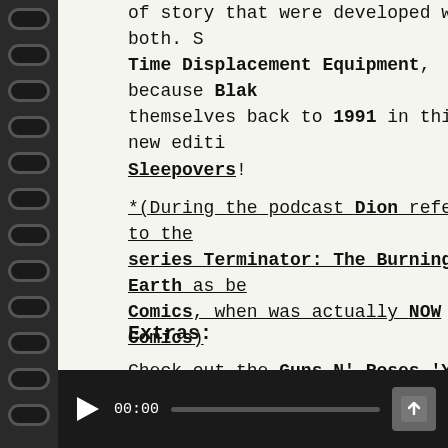of story that were developed within both. So Time Displacement Equipment, because Blake themselves back to 1991 in this all new edition Sleepovers!
*(During the podcast Dion referred to the series Terminator: The Burning Earth as be Comics, when was actually NOW Comics)
Extras:
Check out the Guns N' Roses 'You Could Be footage from the movie, and had Arnold in it
And take a look at this promo made for the Patrick as the T-1000!
[Figure (screenshot): A video player bar with play button, 00:00 timestamp, progress bar, and upload/share button, dark background]